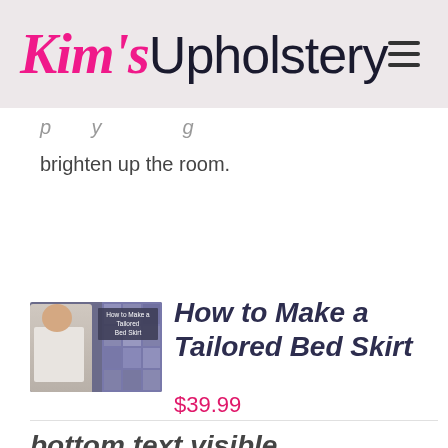Kim's Upholstery
brighten up the room.
[Figure (photo): Thumbnail image of a woman in a white jacket standing next to fabric samples, with overlay text 'How to Make a Tailored Bed Skirt']
How to Make a Tailored Bed Skirt
$39.99